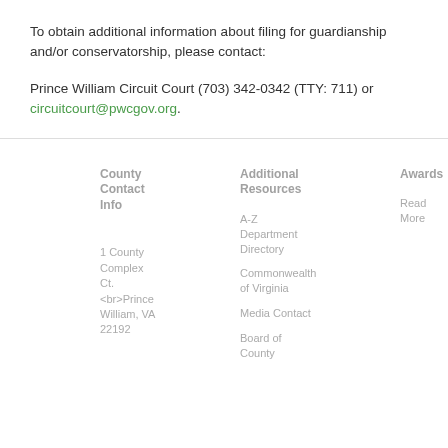To obtain additional information about filing for guardianship and/or conservatorship, please contact:
Prince William Circuit Court (703) 342-0342 (TTY: 711) or circuitcourt@pwcgov.org.
County Contact Info
1 County Complex Ct. <br>Prince William, VA 22192
Additional Resources
A-Z Department Directory
Commonwealth of Virginia
Media Contact
Board of County
Awards
Read More